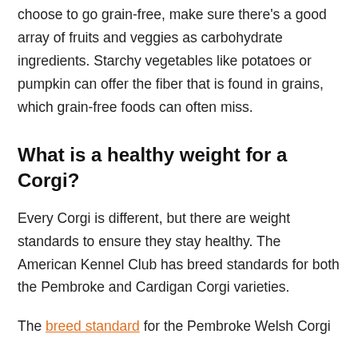choose to go grain-free, make sure there's a good array of fruits and veggies as carbohydrate ingredients. Starchy vegetables like potatoes or pumpkin can offer the fiber that is found in grains, which grain-free foods can often miss.
What is a healthy weight for a Corgi?
Every Corgi is different, but there are weight standards to ensure they stay healthy. The American Kennel Club has breed standards for both the Pembroke and Cardigan Corgi varieties.
The breed standard for the Pembroke Welsh Corgi